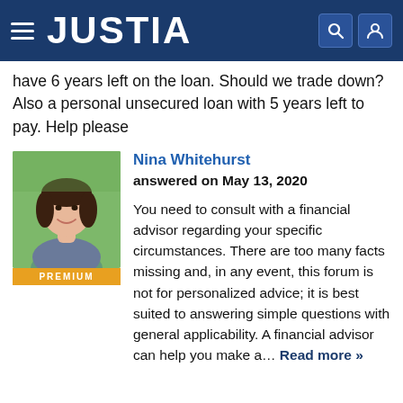[Figure (logo): Justia website header with hamburger menu, JUSTIA logo in white on dark blue background, and search/user icons on the right]
have 6 years left on the loan. Should we trade down? Also a personal unsecured loan with 5 years left to pay. Help please
[Figure (photo): Profile photo of Nina Whitehurst, a woman with dark hair, smiling, with a green outdoor background. PREMIUM badge below.]
Nina Whitehurst
answered on May 13, 2020

You need to consult with a financial advisor regarding your specific circumstances. There are too many facts missing and, in any event, this forum is not for personalized advice; it is best suited to answering simple questions with general applicability. A financial advisor can help you make a... Read more »